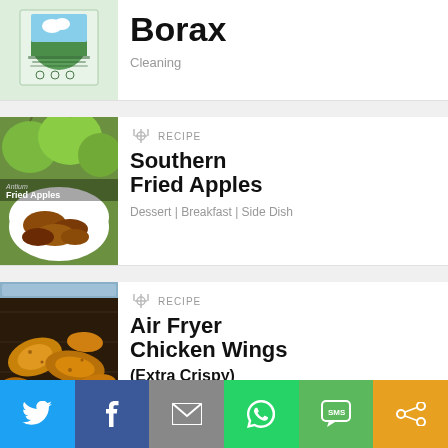[Figure (photo): Borax All Natural Laundry Booster product box with green landscape]
Borax
Cleaning
[Figure (photo): Southern Fried Apples – green apples and fried apple slices in a white bowl]
RECIPE
Southern Fried Apples
Dessert | Breakfast | Side Dish
[Figure (photo): Air Fryer Chicken Wings – golden crispy chicken wings in air fryer basket]
RECIPE
Air Fryer Chicken Wings (Extra Crispy)
Appetizer
Twitter | Facebook | Email | WhatsApp | SMS | Share